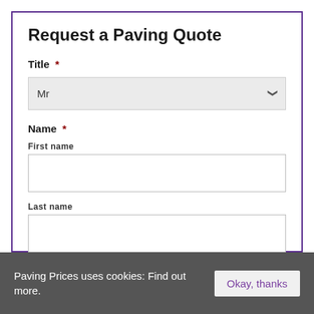Request a Paving Quote
Title *
Mr
Name *
First name
Last name
Address *
Paving Prices uses cookies: Find out more.
Okay, thanks